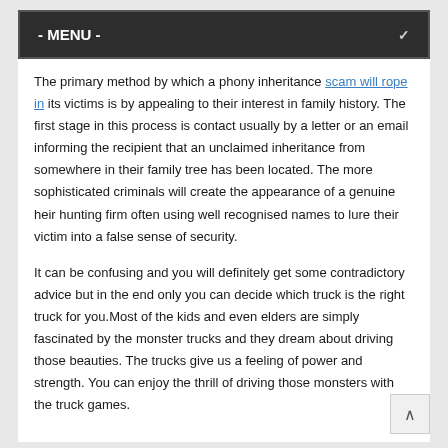- MENU -
The primary method by which a phony inheritance scam will rope in its victims is by appealing to their interest in family history. The first stage in this process is contact usually by a letter or an email informing the recipient that an unclaimed inheritance from somewhere in their family tree has been located. The more sophisticated criminals will create the appearance of a genuine heir hunting firm often using well recognised names to lure their victim into a false sense of security.
It can be confusing and you will definitely get some contradictory advice but in the end only you can decide which truck is the right truck for you.Most of the kids and even elders are simply fascinated by the monster trucks and they dream about driving those beauties. The trucks give us a feeling of power and strength. You can enjoy the thrill of driving those monsters with the truck games.